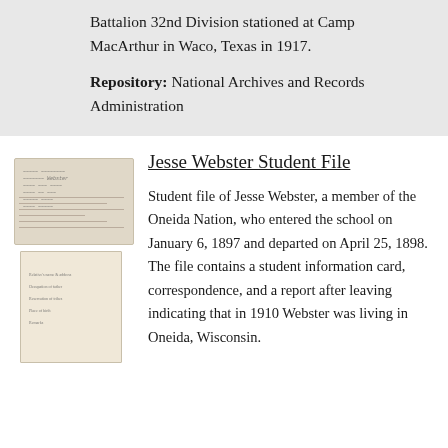Battalion 32nd Division stationed at Camp MacArthur in Waco, Texas in 1917.
Repository: National Archives and Records Administration
Jesse Webster Student File
[Figure (photo): Thumbnail images of two documents: a handwritten student record card on top and a printed form below, both historical documents related to Jesse Webster student file.]
Student file of Jesse Webster, a member of the Oneida Nation, who entered the school on January 6, 1897 and departed on April 25, 1898. The file contains a student information card, correspondence, and a report after leaving indicating that in 1910 Webster was living in Oneida, Wisconsin.